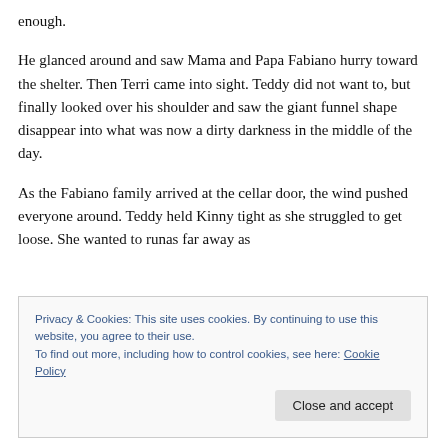enough.
He glanced around and saw Mama and Papa Fabiano hurry toward the shelter. Then Terri came into sight. Teddy did not want to, but finally looked over his shoulder and saw the giant funnel shape disappear into what was now a dirty darkness in the middle of the day.
As the Fabiano family arrived at the cellar door, the wind pushed everyone around. Teddy held Kinny tight as she struggled to get loose. She wanted to runas far away as
Privacy & Cookies: This site uses cookies. By continuing to use this website, you agree to their use.
To find out more, including how to control cookies, see here: Cookie Policy
Close and accept